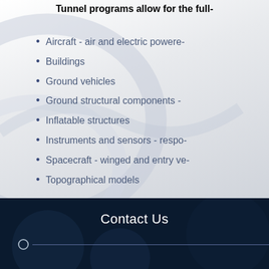Tunnel programs allow for the full-
Aircraft - air and electric powere-
Buildings
Ground vehicles
Ground structural components -
Inflatable structures
Instruments and sensors - respo-
Spacecraft - winged and entry ve-
Topographical models
Contact Us